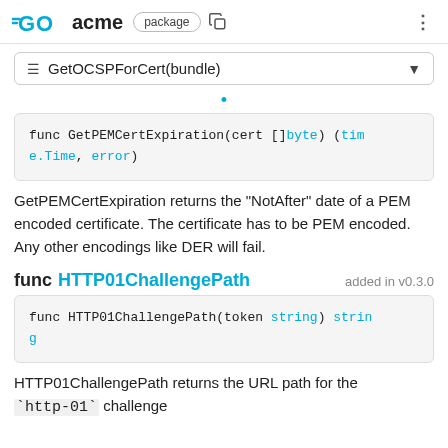GO acme package
GetOCSPForCert(bundle)
[Figure (screenshot): Code block: func GetPEMCertExpiration(cert []byte) (time.Time, error)]
GetPEMCertExpiration returns the "NotAfter" date of a PEM encoded certificate. The certificate has to be PEM encoded. Any other encodings like DER will fail.
func HTTP01ChallengePath  added in v0.3.0
[Figure (screenshot): Code block: func HTTP01ChallengePath(token string) string]
HTTP01ChallengePath returns the URL path for the `http-01` challenge